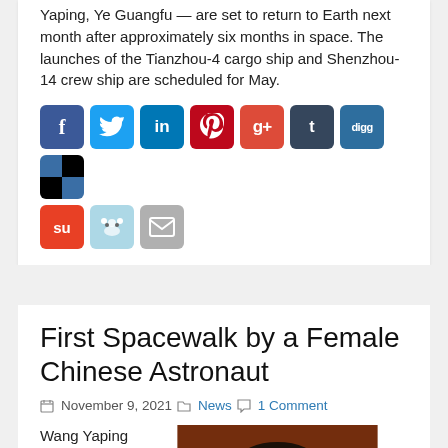Yaping, Ye Guangfu — are set to return to Earth next month after approximately six months in space. The launches of the Tianzhou-4 cargo ship and Shenzhou-14 crew ship are scheduled for May.
[Figure (infographic): Social media sharing icons: Facebook, Twitter, LinkedIn, Pinterest, Google+, Tumblr, Digg, Delicious/checker, StumbleUpon, Reddit, Email]
First Spacewalk by a Female Chinese Astronaut
November 9, 2021  News  1 Comment
Wang Yaping became
[Figure (photo): Headshot photo of a person with black hair against a dark reddish-brown background]